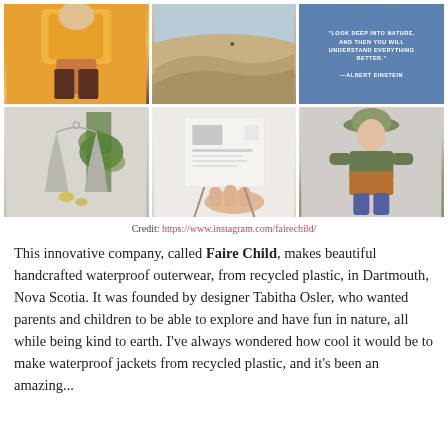[Figure (photo): 3x2 grid of Instagram photos from Faire Child: child in yellow jacket, desert scene, blue quote tile, grey jacket on hanger, hand holding document/lookbook, child in green and orange jacket outdoors]
Credit: https://www.instagram.com/fairechild/
This innovative company, called Faire Child, makes beautiful handcrafted waterproof outerwear, from recycled plastic, in Dartmouth, Nova Scotia. It was founded by designer Tabitha Osler, who wanted parents and children to be able to explore and have fun in nature, all while being kind to earth. I've always wondered how cool it would be to make waterproof jackets from recycled plastic, and it's been an amazing...